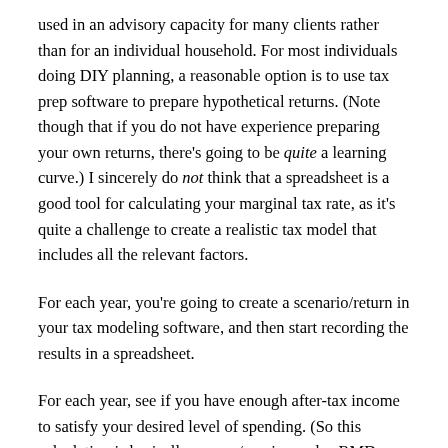used in an advisory capacity for many clients rather than for an individual household. For most individuals doing DIY planning, a reasonable option is to use tax prep software to prepare hypothetical returns. (Note though that if you do not have experience preparing your own returns, there's going to be quite a learning curve.) I sincerely do not think that a spreadsheet is a good tool for calculating your marginal tax rate, as it's quite a challenge to create a realistic tax model that includes all the relevant factors.
For each year, you're going to create a scenario/return in your tax modeling software, and then start recording the results in a spreadsheet.
For each year, see if you have enough after-tax income to satisfy your desired level of spending. (So this calculation is basically: wages/earnings, plus RMDs, plus Social Security/pension income, plus investment income from taxable accounts, minus taxes — and compare that to your desired level of spending.) If that level of income isn't enough, increase tax-deferred distributions until it is.